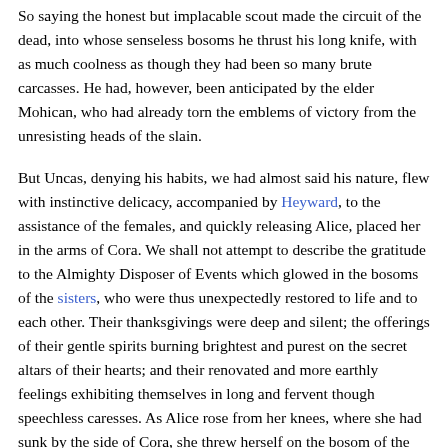of them loping through the woods, and screeching like a jay that has been winged."
So saying the honest but implacable scout made the circuit of the dead, into whose senseless bosoms he thrust his long knife, with as much coolness as though they had been so many brute carcasses. He had, however, been anticipated by the elder Mohican, who had already torn the emblems of victory from the unresisting heads of the slain.
But Uncas, denying his habits, we had almost said his nature, flew with instinctive delicacy, accompanied by Heyward, to the assistance of the females, and quickly releasing Alice, placed her in the arms of Cora. We shall not attempt to describe the gratitude to the Almighty Disposer of Events which glowed in the bosoms of the sisters, who were thus unexpectedly restored to life and to each other. Their thanksgivings were deep and silent; the offerings of their gentle spirits burning brightest and purest on the secret altars of their hearts; and their renovated and more earthly feelings exhibiting themselves in long and fervent though speechless caresses. As Alice rose from her knees, where she had sunk by the side of Cora, she threw herself on the bosom of the latter, and sobbed aloud the name of their aged father, while her soft, dove-like eyes, sparkled with the rays of hope.